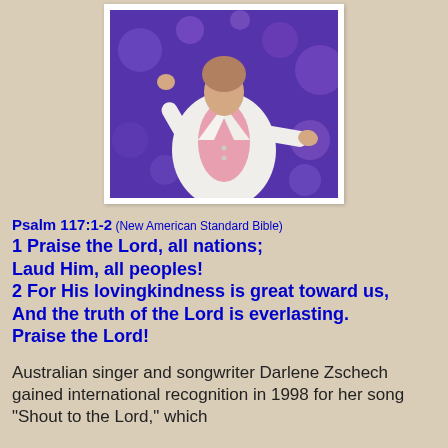[Figure (photo): A person wearing a white blazer and pink top, performing on stage with a purple bokeh background, arms outstretched.]
Psalm 117:1-2 (New American Standard Bible)
1 Praise the Lord, all nations;
Laud Him, all peoples!
2 For His lovingkindness is great toward us,
And the truth of the Lord is everlasting.
Praise the Lord!
Australian singer and songwriter Darlene Zschech gained international recognition in 1998 for her song "Shout to the Lord," which